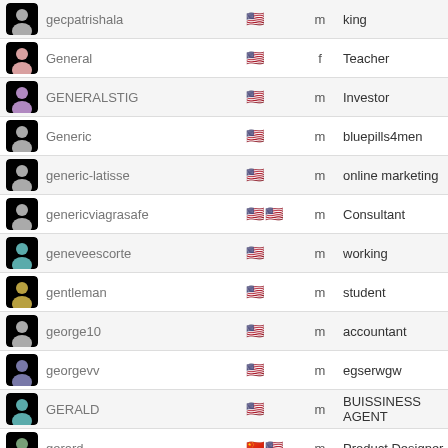| avatar | username | flags | gender | occupation |
| --- | --- | --- | --- | --- |
|  | gecpatrishala | 🇺🇸 | m | king |
|  | General | 🇺🇸 | f | Teacher |
|  | GENERALSTIG | 🇺🇸 | m | Investor |
|  | Generic | 🇺🇸 | m | bluepills4men |
|  | generic-latisse | 🇺🇸 | m | online marketing |
|  | genericviagrasafe | 🇺🇸🇺🇸 | m | Consultant |
|  | geneveescorte | 🇺🇸 | m | working |
|  | gentleman | 🇺🇸 | m | student |
|  | george10 | 🇺🇸 | m | accountant |
|  | georgevv | 🇺🇸 | m | egserwgw |
|  | GERALD | 🇺🇸 | m | BUISSINESS AGENT |
|  | gerard | 🇨🇳🇺🇸 | m | Product Designer |
|  | gerfield | 🇺🇸 | m | retiree |
|  | germanhkguy | 🇺🇸 | m | importing computer & ... |
|  | GermanSeb | 🇨🇳🇺🇸 | m | beer drinker |
page: 1 2 3 4   NEW PROF